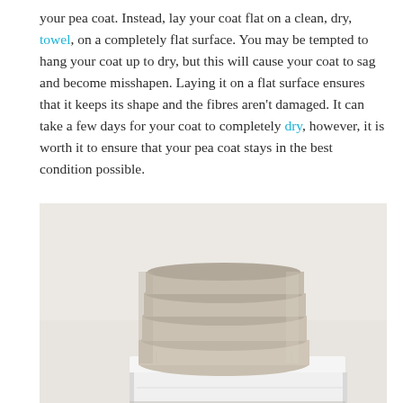your pea coat. Instead, lay your coat flat on a clean, dry, towel, on a completely flat surface. You may be tempted to hang your coat up to dry, but this will cause your coat to sag and become misshapen. Laying it on a flat surface ensures that it keeps its shape and the fibres aren't damaged. It can take a few days for your coat to completely dry, however, it is worth it to ensure that your pea coat stays in the best condition possible.
[Figure (photo): A stack of folded beige/cream towels sitting on top of a white dresser or shelf, photographed against a light neutral background.]